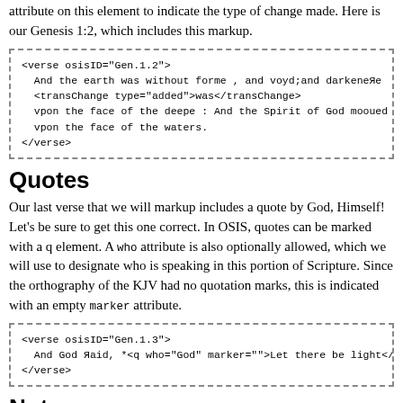attribute on this element to indicate the type of change made. Here is our Genesis 1:2, which includes this markup.
[Figure (screenshot): Code block showing XML markup for verse Gen.1.2 with transChange element]
Quotes
Our last verse that we will markup includes a quote by God, Himself! Let's be sure to get this one correct. In OSIS, quotes can be marked with a q element. A who attribute is also optionally allowed, which we will use to designate who is speaking in this portion of Scripture. Since the orthography of the KJV had no quotation marks, this is indicated with an empty marker attribute.
[Figure (screenshot): Code block showing XML markup for verse Gen.1.3 with q element]
Notes